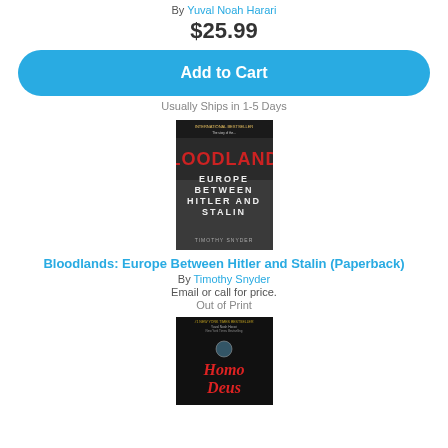By Yuval Noah Harari
$25.99
Add to Cart
Usually Ships in 1-5 Days
[Figure (photo): Book cover: Bloodlands: Europe Between Hitler and Stalin by Timothy Snyder]
Bloodlands: Europe Between Hitler and Stalin (Paperback)
By Timothy Snyder
Email or call for price.
Out of Print
[Figure (photo): Book cover: Homo Deus by Yuval Noah Harari]